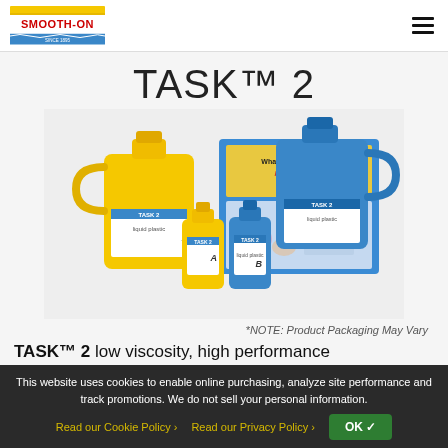Smooth-On logo and hamburger menu navigation
TASK™ 2
[Figure (photo): Product photo of TASK 2 urethane plastic containers: two large yellow jugs (Part A), one smaller yellow bottle (Part A), and one smaller blue bottle (Part B), with a blue Smooth-On informational box in the background showing 'What Are You Making? Make It Real!']
*NOTE: Product Packaging May Vary
TASK™ 2 low viscosity, high performance
This website uses cookies to enable online purchasing, analyze site performance and track promotions. We do not sell your personal information.
Read our Cookie Policy ›   Read our Privacy Policy ›
OK ✓